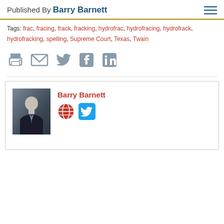Published By Barry Barnett
Tags: frac, fracing, frack, fracking, hydrofrac, hydrofracing, hydrofrack, hydrofracking, spelling, Supreme Court, Texas, Twain
[Figure (other): Social sharing icons: print, email, Twitter, Facebook, LinkedIn]
[Figure (other): Author bio box with photo of Barry Barnett in suit, name in red, globe icon and Twitter icon links]